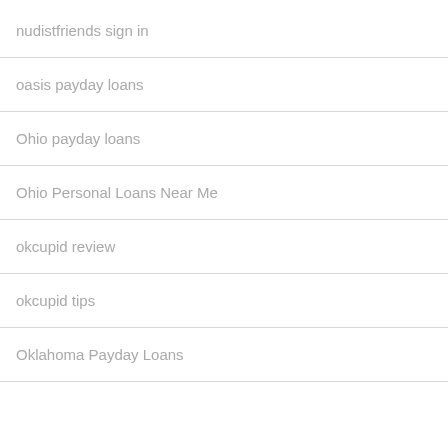nudistfriends sign in
oasis payday loans
Ohio payday loans
Ohio Personal Loans Near Me
okcupid review
okcupid tips
Oklahoma Payday Loans